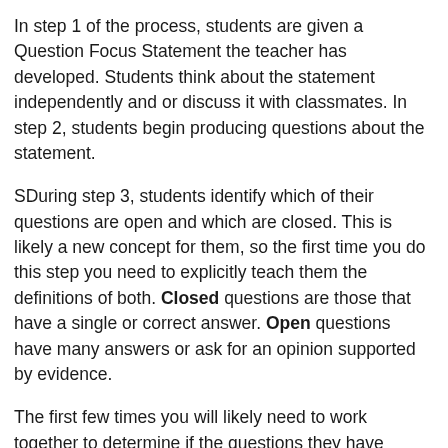In step 1 of the process, students are given a Question Focus Statement the teacher has developed. Students think about the statement independently and or discuss it with classmates. In step 2, students begin producing questions about the statement.
SDuring step 3, students identify which of their questions are open and which are closed. This is likely a new concept for them, so the first time you do this step you need to explicitly teach them the definitions of both. Closed questions are those that have a single or correct answer. Open questions have many answers or ask for an opinion supported by evidence.
The first few times you will likely need to work together to determine if the questions they have produced are open or closed. Even as students gain confidence with this process, asking students to share, explain and discuss their choices, continues to deepen their understanding.